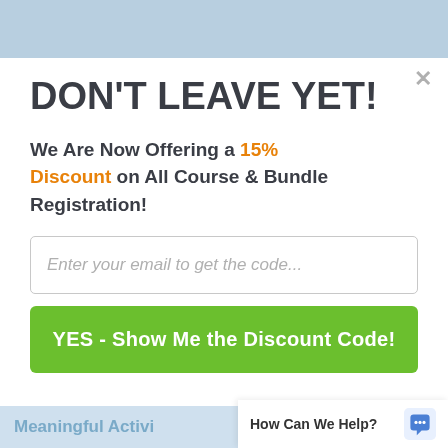DON'T LEAVE YET!
We Are Now Offering a 15% Discount on All Course & Bundle Registration!
Enter your email to get the code...
YES - Show Me the Discount Code!
Meaningful Activi
How Can We Help?